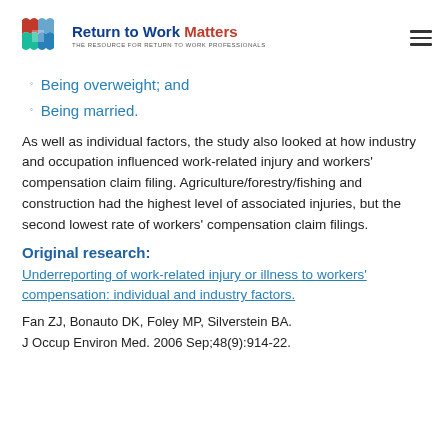Return to Work Matters — THE RESOURCE FOR RETURN TO WORK PROFESSIONALS
Being overweight; and
Being married.
As well as individual factors, the study also looked at how industry and occupation influenced work-related injury and workers' compensation claim filing. Agriculture/forestry/fishing and construction had the highest level of associated injuries, but the second lowest rate of workers' compensation claim filings.
Original research:
Underreporting of work-related injury or illness to workers' compensation: individual and industry factors.
Fan ZJ, Bonauto DK, Foley MP, Silverstein BA.
J Occup Environ Med. 2006 Sep;48(9):914-22.